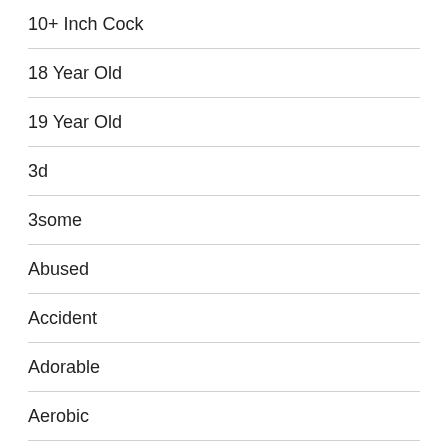10+ Inch Cock
18 Year Old
19 Year Old
3d
3some
Abused
Accident
Adorable
Aerobic
Aged
Albanian